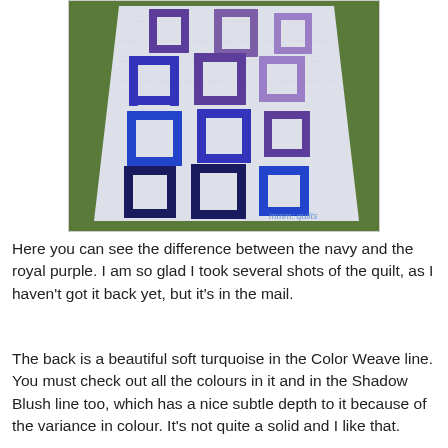[Figure (photo): A quilt laid on grass featuring geometric interlocking square/rectangular patterns in navy, royal blue, and purple (lavender) on a white/silver background. Watermark text 'mmm: quilts' visible in lower right corner.]
Here you can see the difference between the navy and the royal purple. I am so glad I took several shots of the quilt, as I haven't got it back yet, but it's in the mail.
The back is a beautiful soft turquoise in the Color Weave line. You must check out all the colours in it and in the Shadow Blush line too, which has a nice subtle depth to it because of the variance in colour. It's not quite a solid and I like that.